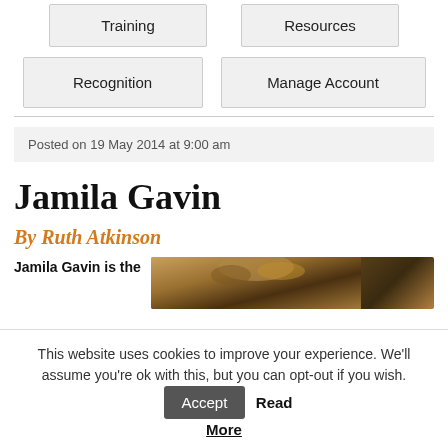Training
Resources
Recognition
Manage Account
Posted on 19 May 2014 at 9:00 am
Jamila Gavin
By Ruth Atkinson
Jamila Gavin is the
[Figure (photo): Partial photo of a person, showing top of head with hair, cropped]
This website uses cookies to improve your experience. We'll assume you're ok with this, but you can opt-out if you wish. Accept Read More